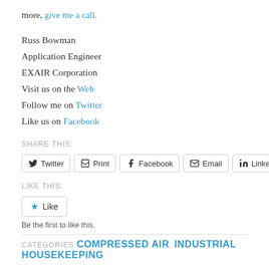more, give me a call.
Russ Bowman
Application Engineer
EXAIR Corporation
Visit us on the Web
Follow me on Twitter
Like us on Facebook
SHARE THIS:
Twitter | Print | Facebook | Email | LinkedIn
LIKE THIS:
Like
Be the first to like this.
CATEGORIES COMPRESSED AIR, INDUSTRIAL HOUSEKEEPING